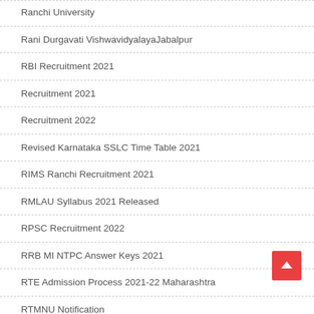Ranchi University
Rani Durgavati VishwavidyalayaJabalpur
RBI Recruitment 2021
Recruitment 2021
Recruitment 2022
Revised Karnataka SSLC Time Table 2021
RIMS Ranchi Recruitment 2021
RMLAU Syllabus 2021 Released
RPSC Recruitment 2022
RRB MI NTPC Answer Keys 2021
RTE Admission Process 2021-22 Maharashtra
RTMNU Notification